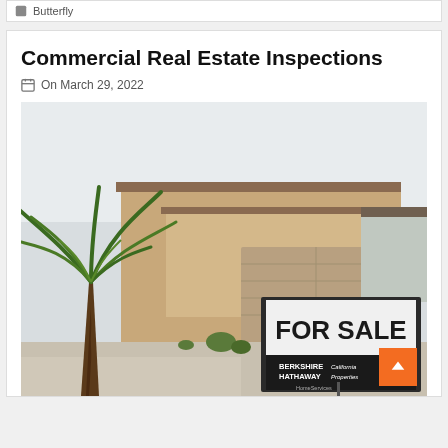Butterfly
Commercial Real Estate Inspections
On March 29, 2022
[Figure (photo): A house with a palm tree in the foreground and a 'FOR SALE' sign from Berkshire Hathaway California Properties HomeServices visible in the lower right portion of the image.]